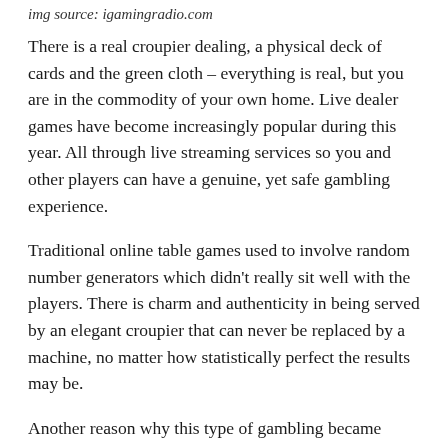img source: igamingradio.com
There is a real croupier dealing, a physical deck of cards and the green cloth – everything is real, but you are in the commodity of your own home. Live dealer games have become increasingly popular during this year. All through live streaming services so you and other players can have a genuine, yet safe gambling experience.
Traditional online table games used to involve random number generators which didn't really sit well with the players. There is charm and authenticity in being served by an elegant croupier that can never be replaced by a machine, no matter how statistically perfect the results may be.
Another reason why this type of gambling became enormously sought after is the authenticity of the environment. Lighting, sound and ambient looks professional and there are multiple cameras recording every dealer's move from multiple angles. Players can